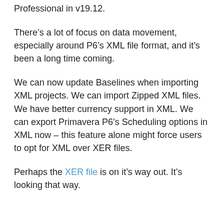Professional in v19.12.
There’s a lot of focus on data movement, especially around P6’s XML file format, and it’s been a long time coming.
We can now update Baselines when importing XML projects. We can import Zipped XML files. We have better currency support in XML. We can export Primavera P6’s Scheduling options in XML now – this feature alone might force users to opt for XML over XER files.
Perhaps the XER file is on it’s way out. It’s looking that way.